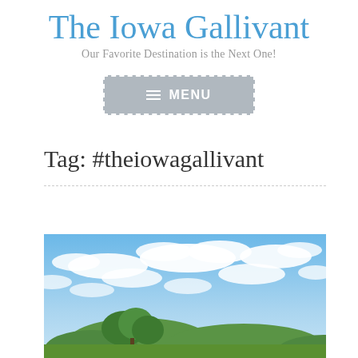The Iowa Gallivant
Our Favorite Destination is the Next One!
[Figure (other): Menu button with hamburger icon, gray background with dashed border, text reads MENU]
Tag: #theiowagallivant
[Figure (photo): Landscape photo with blue sky, white clouds, green trees on the horizon, Iowa countryside]